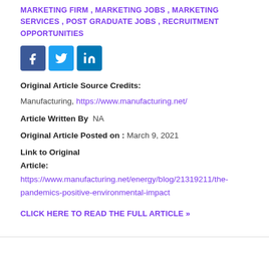MARKETING FIRM , MARKETING JOBS , MARKETING SERVICES , POST GRADUATE JOBS , RECRUITMENT OPPORTUNITIES
[Figure (other): Social media share icons: Facebook (blue square with f), Twitter (light blue square with bird), LinkedIn (dark blue square with 'in')]
Original Article Source Credits:
Manufacturing, https://www.manufacturing.net/
Article Written By  NA
Original Article Posted on : March 9, 2021
Link to Original Article: https://www.manufacturing.net/energy/blog/21319211/the-pandemics-positive-environmental-impact
CLICK HERE TO READ THE FULL ARTICLE »